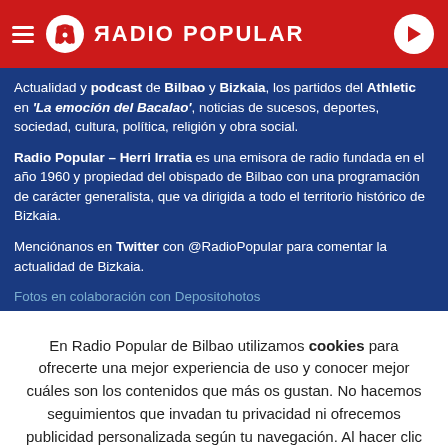RADIO POPULAR
Actualidad y podcast de Bilbao y Bizkaia, los partidos del Athletic en 'La emoción del Bacalao', noticias de sucesos, deportes, sociedad, cultura, política, religión y obra social.
Radio Popular – Herri Irratia es una emisora de radio fundada en el año 1960 y propiedad del obispado de Bilbao con una programación de carácter generalista, que va dirigida a todo el territorio histórico de Bizkaia.
Mencionanos en Twitter con @RadioPopular para comentar la actualidad de Bizkaia.
Fotos en colaboración con Depositohotos
En Radio Popular de Bilbao utilizamos cookies para ofrecerte una mejor experiencia de uso y conocer mejor cuáles son los contenidos que más os gustan. No hacemos seguimientos que invadan tu privacidad ni ofrecemos publicidad personalizada según tu navegación. Al hacer clic en 'Aceptar todo', aceptas el uso de TODAS las cookies.
Rechazar y salir | Aceptar todas y continuar | Leer más